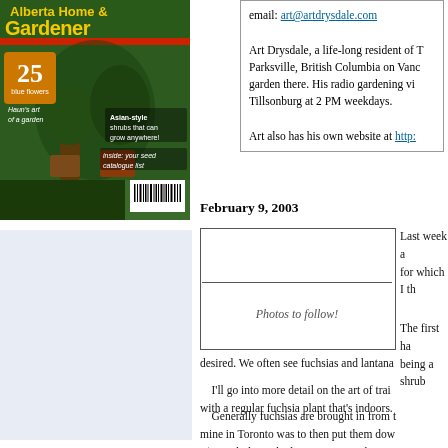[Figure (photo): Magazine cover of 'Alberta Home & Gardener' showing garden with plants, text '25 blue flowers', 'Haun's art of a garden', 'Asian-style shrubs that can grow anywhere!', 'inside: your seed catalogue list']
[Figure (illustration): Light blue sidebar/advertisement box area]
email: art@artdrysdale.com

Art Drysdale, a life-long resident of Toronto, now lives in Parksville, British Columbia on Vancouver Island. He has a garden there. His radio gardening views can be heard in Tillsonburg at 2 PM weekdays.

Art also has his own website at http://...
February 9, 2003
[Figure (photo): Photo placeholder box with 'Photos to follow!' text in lower section]
Last week ... for which I th...
The first ha... being a shrub... desired. We often see fuchsias and lantana...
I'll go into more detail on the art of trai... with a regular fuchsia plant that's indoors.
Generally fuchsias are brought in from t... mine in Toronto was to then put them dow... C). For light we had just one two-tube 48-i... is a reasonable length of time for lighting s...
Down there we kept aging specimens of... plants such as the tender New Zealand flax...